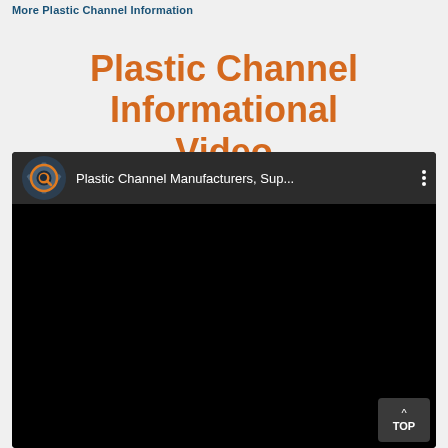More Plastic Channel Information
Plastic Channel Informational Video
[Figure (screenshot): Embedded YouTube video player screenshot showing a dark video player with channel icon (gear/magnifier logo), channel name 'Plastic Channel Manufacturers, Sup...' and a black video frame with a 'TOP' scroll button in the bottom right.]